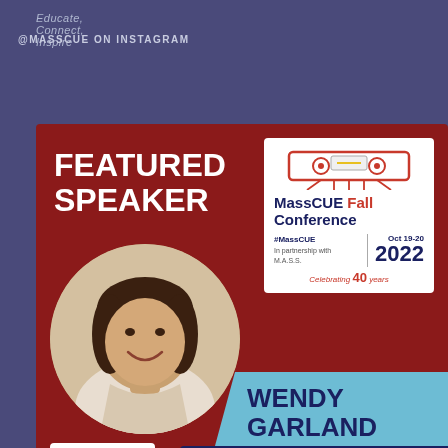Educate, Connect, Inspire
@MASSCUE ON INSTAGRAM
[Figure (infographic): MassCUE Fall Conference Featured Speaker card for Wendy Garland, K-5 Library Media Specialist. Dark red background with circular headshot photo, MassCUE Fall Conference logo (Oct 19-20 2022, #MassCUE, In partnership with M.A.S.S., Celebrating 40 years), teal name banner, dark blue title banner.]
FEATURED SPEAKER
MassCUE Fall Conference #MassCUE In partnership with M.A.S.S. Oct 19-20 2022 Celebrating 40 years
WENDY GARLAND
K-5 LIBRARY MEDIA SPECIALIST
MassCUE